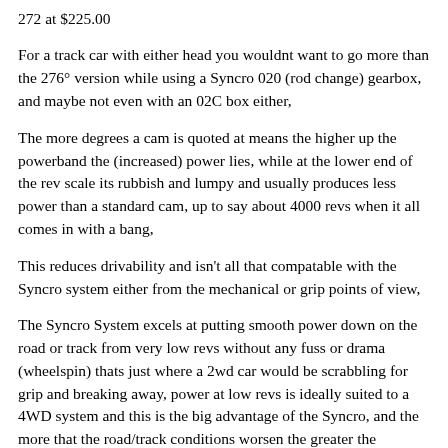272 at $225.00
For a track car with either head you wouldnt want to go more than the 276° version while using a Syncro 020 (rod change) gearbox, and maybe not even with an 02C box either,
The more degrees a cam is quoted at means the higher up the powerband the (increased) power lies, while at the lower end of the rev scale its rubbish and lumpy and usually produces less power than a standard cam, up to say about 4000 revs when it all comes in with a bang,
This reduces drivability and isn't all that compatable with the Syncro system either from the mechanical or grip points of view,
The Syncro System excels at putting smooth power down on the road or track from very low revs without any fuss or drama (wheelspin) thats just where a 2wd car would be scrabbling for grip and breaking away, power at low revs is ideally suited to a 4WD system and this is the big advantage of the Syncro, and the more that the road/track conditions worsen the greater the advantage gets, to my way of thinking it makes sense to have extra power available low down where you can make maximum use of it, and accept a small